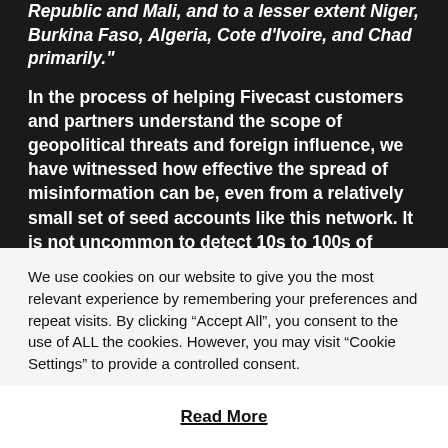Republic and Mali, and to a lesser extent Niger, Burkina Faso, Algeria, Cote d'Ivoire, and Chad primarily."
In the process of helping Fivecast customers and partners understand the scope of geopolitical threats and foreign influence, we have witnessed how effective the spread of misinformation can be, even from a relatively small set of seed accounts like this network. It is not uncommon to detect 10s to 100s of thousands of accounts interacting with a social media network of
We use cookies on our website to give you the most relevant experience by remembering your preferences and repeat visits. By clicking “Accept All”, you consent to the use of ALL the cookies. However, you may visit “Cookie Settings” to provide a controlled consent.
Cookie Settings
Accept All
Read More